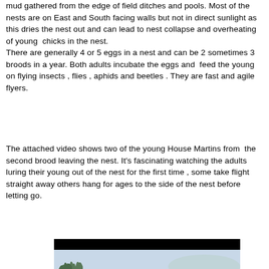mud gathered from the edge of field ditches and pools. Most of the nests are on East and South facing walls but not in direct sunlight as this dries the nest out and can lead to nest collapse and overheating of young  chicks in the nest. There are generally 4 or 5 eggs in a nest and can be 2 sometimes 3 broods in a year. Both adults incubate the eggs and  feed the young on flying insects , flies , aphids and beetles . They are fast and agile flyers.
The attached video shows two of the young House Martins from  the second brood leaving the nest. It's fascinating watching the adults luring their young out of the nest for the first time , some take flight straight away others hang for ages to the side of the nest before letting go.
[Figure (screenshot): Video thumbnail showing a black bar at top and a sky with trees at the bottom, partially cut off]